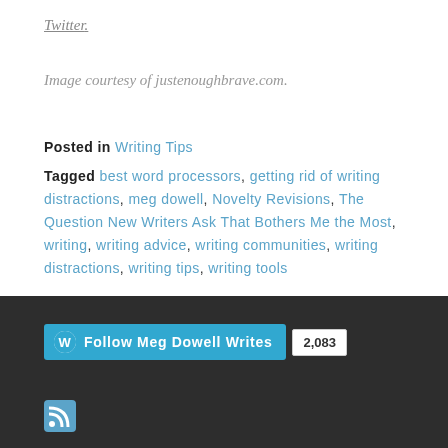Twitter.
Image courtesy of justenoughbrave.com.
Posted in Writing Tips
Tagged best word processors, getting rid of writing distractions, meg dowell, Novelty Revisions, The Question New Writers Ask That Bothers Me the Most, writing, writing advice, writing communities, writing distractions, writing tips, writing tools
Follow Meg Dowell Writes 2,083